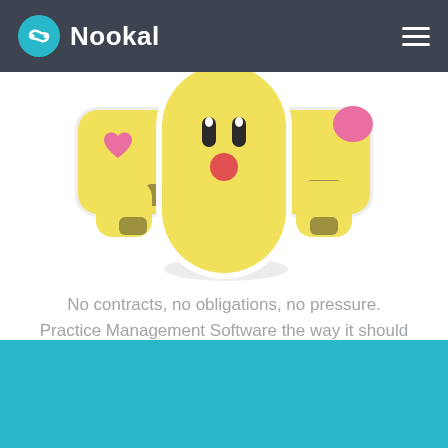Nookal
[Figure (illustration): Cute cartoon character resembling a yellow pill/blob with small black eyes, a round red nose, and two small yellow hands/feet. Two smaller sticker-like characters on either side — one with a pink heart detail, one plain. All have a white border/shadow effect giving a sticker appearance.]
No contracts, no obligations, no pressure. Practice Management Software the way it should be.